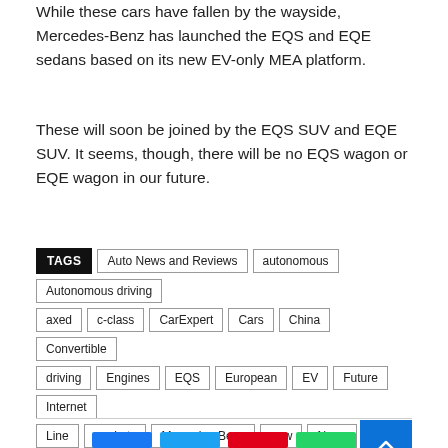While these cars have fallen by the wayside, Mercedes-Benz has launched the EQS and EQE sedans based on its new EV-only MEA platform.
These will soon be joined by the EQS SUV and EQE SUV. It seems, though, there will be no EQS wagon or EQE wagon in our future.
TAGS Auto News and Reviews autonomous Autonomous driving axed c-class CarExpert Cars China Convertible driving Engines EQS European EV Future Internet Line markets Mercedes-Benz new News next-generation Report Sales Style SUV Technology The US us wagon